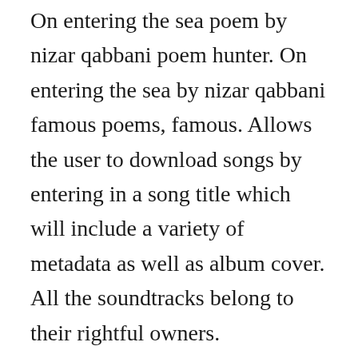On entering the sea poem by nizar qabbani poem hunter. On entering the sea by nizar qabbani famous poems, famous. Allows the user to download songs by entering in a song title which will include a variety of metadata as well as album cover. All the soundtracks belong to their rightful owners.
For other download and installationrelated help, click the appropriate link above. People suggest, why dont we do what the dutch do, says obeysekera. Sea past papers maths, with answers free download g. Jun 03, 2015 today, five thrilling new gtlds are entering the